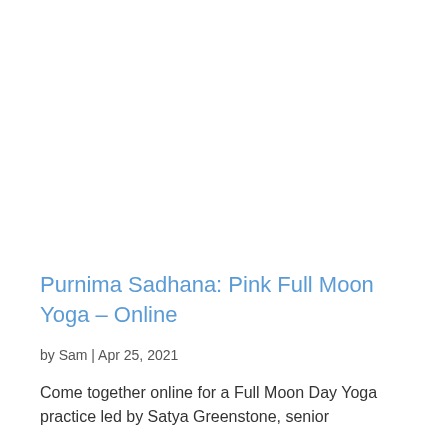Purnima Sadhana: Pink Full Moon Yoga – Online
by Sam | Apr 25, 2021
Come together online for a Full Moon Day Yoga practice led by Satya Greenstone, senior